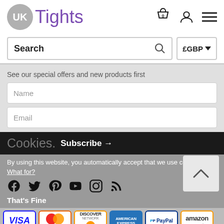[Figure (logo): UK Tights logo: grey circle with UK text and purple 'Tights' wordmark]
[Figure (screenshot): Header icons: shopping bag with 0, user account, hamburger menu]
Search
£GBP
See our special offers and new products first
Name
Email
Cookies.
Subscribe →
By using this website, you automatically accept that we use cookies. What for?
That's Fine
[Figure (logo): Payment logos: VISA, MasterCard, Discover Network, American Express, PayPal, Amazon payments]